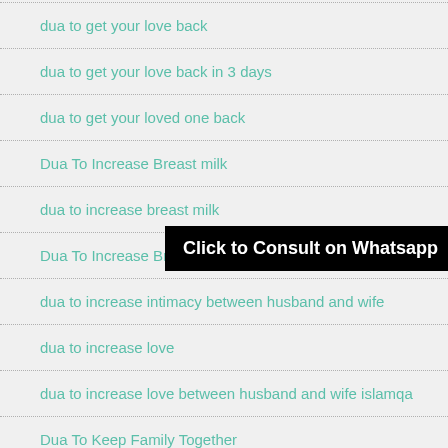dua to get your love back
dua to get your love back in 3 days
dua to get your loved one back
Dua To Increase Breast milk
dua to increase breast milk
[Figure (other): Black banner overlay with text: Click to Consult on Whatsapp]
Dua To Increase Breast Size
dua to increase intimacy between husband and wife
dua to increase love
dua to increase love between husband and wife islamqa
Dua To Keep Family Together